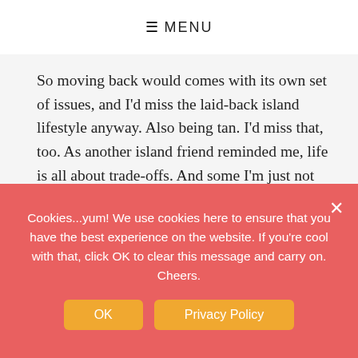☰ MENU
So moving back would comes with its own set of issues, and I'd miss the laid-back island lifestyle anyway. Also being tan. I'd miss that, too. As another island friend reminded me, life is all about trade-offs. And some I'm just not prepared to make, no matter how much I love the mountains.
Which is why, although my affection for the PNW has been rekindled, I know that the right place for me is still my tiny island in the sun. And until I can make two homes a reality, occasional visits will have to do. Besides, it will start to rain in
Cookies...yum! We use cookies here to ensure that you have the best experience on the website. If you're cool with that, click OK to clear this message and carry on. Cheers.